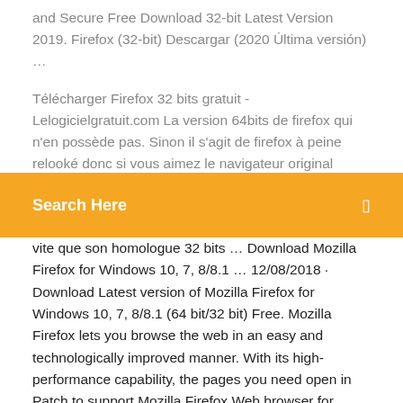and Secure Free Download 32-bit Latest Version 2019. Firefox (32-bit) Descargar (2020 Última versión) ...
Télécharger Firefox 32 bits gratuit - Lelogicielgratuit.com La version 64bits de firefox qui n'en possède pas. Sinon il s'agit de firefox à peine relooké donc si vous aimez le navigateur original
Search Here
vite que son homologue 32 bits ... Download Mozilla Firefox for Windows 10, 7, 8/8.1 ... 12/08/2018 · Download Latest version of Mozilla Firefox for Windows 10, 7, 8/8.1 (64 bit/32 bit) Free. Mozilla Firefox lets you browse the web in an easy and technologically improved manner. With its high-performance capability, the pages you need open in Patch to support Mozilla Firefox Web browser for Client ... Patch to support Mozilla Firefox 4.0 and 5.0 Web browser for Client Security Solution 8.3 - Windows 7 (32-bit, 64-bit)